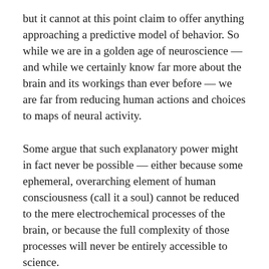but it cannot at this point claim to offer anything approaching a predictive model of behavior. So while we are in a golden age of neuroscience — and while we certainly know far more about the brain and its workings than ever before — we are far from reducing human actions and choices to maps of neural activity.
Some argue that such explanatory power might in fact never be possible — either because some ephemeral, overarching element of human consciousness (call it a soul) cannot be reduced to the mere electrochemical processes of the brain, or because the full complexity of those processes will never be entirely accessible to science.
But our approach to the question of modern biology and free will cannot begin by assuming that science will not get far enough to force the issue. We need to take seriously the